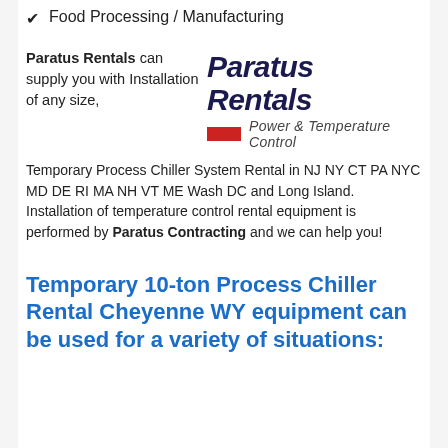Food Processing / Manufacturing
Paratus Rentals can supply you with Installation of any size, Temporary Process Chiller System Rental in NJ NY CT PA NYC MD DE RI MA NH VT ME Wash DC and Long Island. Installation of temperature control rental equipment is performed by Paratus Contracting and we can help you!
[Figure (logo): Paratus Rentals Power & Temperature Control logo — dark navy bold italic text with a red rectangle accent bar]
Temporary 10-ton Process Chiller Rental Cheyenne WY equipment can be used for a variety of situations: